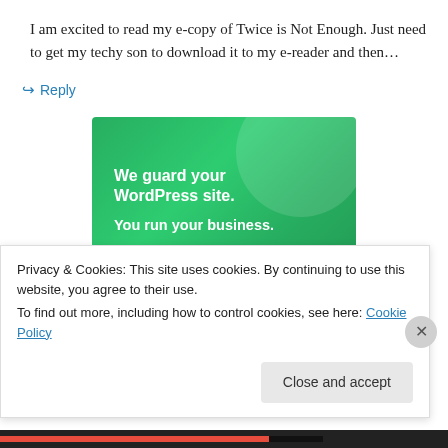I am excited to read my e-copy of Twice is Not Enough. Just need to get my techy son to download it to my e-reader and then…
↪ Reply
[Figure (illustration): Green advertisement banner reading 'We guard your WordPress site. You run your business.' with a decorative circle in the upper right.]
Privacy & Cookies: This site uses cookies. By continuing to use this website, you agree to their use.
To find out more, including how to control cookies, see here: Cookie Policy